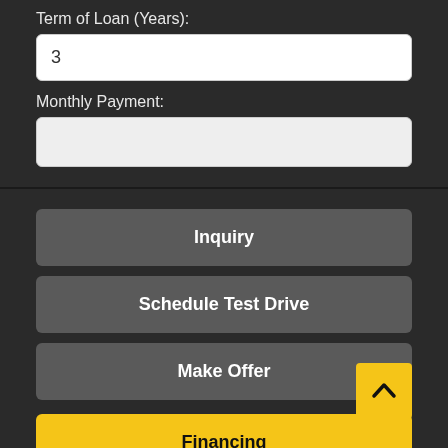Term of Loan (Years):
3
Monthly Payment:
Inquiry
Schedule Test Drive
Make Offer
Financing